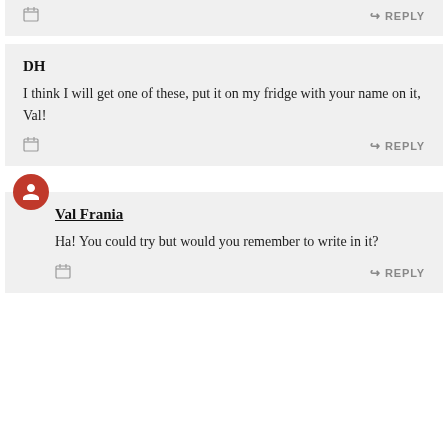REPLY
DH
I think I will get one of these, put it on my fridge with your name on it, Val!
REPLY
Val Frania
Ha! You could try but would you remember to write in it?
REPLY